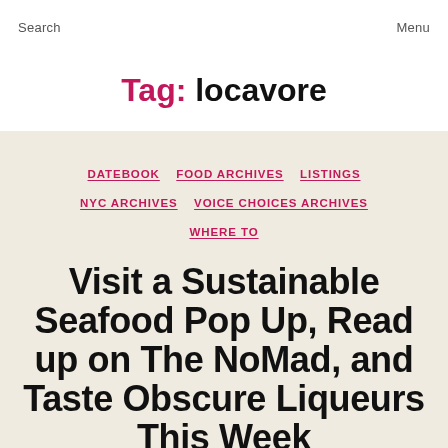Search   Menu
Tag: locavore
DATEBOOK
FOOD ARCHIVES
LISTINGS
NYC ARCHIVES
VOICE CHOICES ARCHIVES
WHERE TO
Visit a Sustainable Seafood Pop Up, Read up on The NoMad, and Taste Obscure Liqueurs This Week